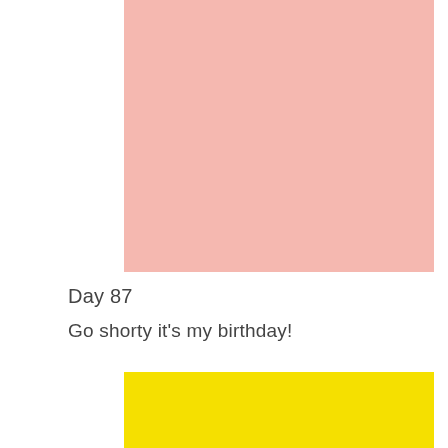[Figure (illustration): Large pink/salmon colored square block occupying the upper portion of the page]
Day 87
Go shorty it's my birthday!
[Figure (illustration): Bright yellow square block at the bottom of the page, partially cropped]